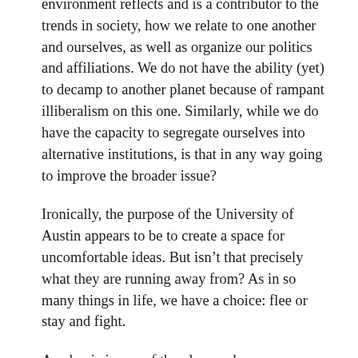environment reflects and is a contributor to the trends in society, how we relate to one another and ourselves, as well as organize our politics and affiliations. We do not have the ability (yet) to decamp to another planet because of rampant illiberalism on this one. Similarly, while we do have the capacity to segregate ourselves into alternative institutions, is that in any way going to improve the broader issue?
Ironically, the purpose of the University of Austin appears to be to create a space for uncomfortable ideas. But isn't that precisely what they are running away from? As in so many things in life, we have a choice: flee or stay and fight.
Academia is one of the places where we address, however awkwardly and inconclusively, concerns like...